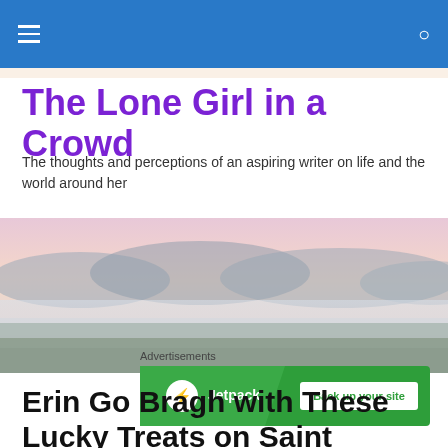The Lone Girl in a Crowd — navigation header with hamburger menu and search icon
The Lone Girl in a Crowd
The thoughts and perceptions of an aspiring writer on life and the world around her
[Figure (photo): Misty landscape with mountains and trees in soft pink dawn light]
Advertisements
[Figure (infographic): Jetpack advertisement banner: Jetpack logo with lightning bolt icon on green background, Back up your site button]
Erin Go Bragh with These Lucky Treats on Saint Patrick's